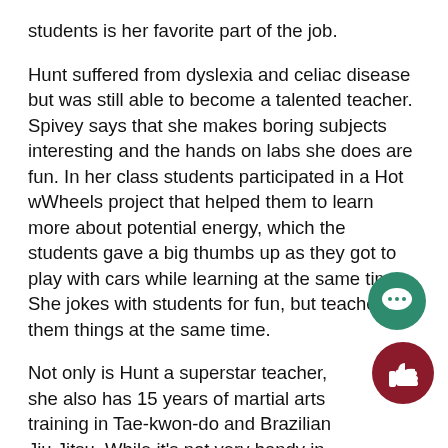students is her favorite part of the job.
Hunt suffered from dyslexia and celiac disease but was still able to become a talented teacher.  Spivey says that she makes boring subjects interesting and the hands on labs she does are fun. In her class students participated in a Hot wWheels project that helped them to learn more about potential energy, which the students gave a big thumbs up as they got to play with cars while learning at the same time. She jokes with students for fun, but teaches them things at the same time.
Not only is Hunt a superstar teacher, she also has 15 years of martial arts training in Tae-kwon-do and Brazilian Jiu Jitsu. While it's not very handy in the classroom, it's fun to share with her students.
Hunt is looking forward to the bodily systems unit th year. “It is so relatable to students. I’m excited to see